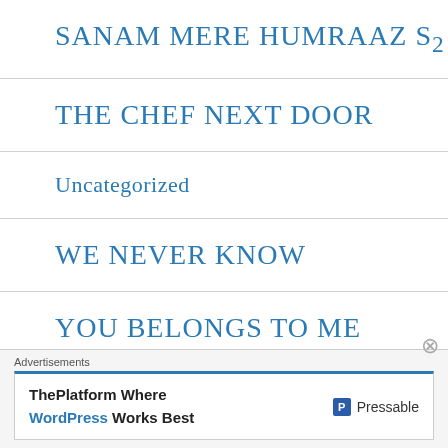SANAM MERE HUMRAAZ S2
THE CHEF NEXT DOOR
Uncategorized
WE NEVER KNOW
YOU BELONGS TO ME
MG LOVE DIARIES
Advertisements
ThePlatform Where WordPress Works Best  Pressable